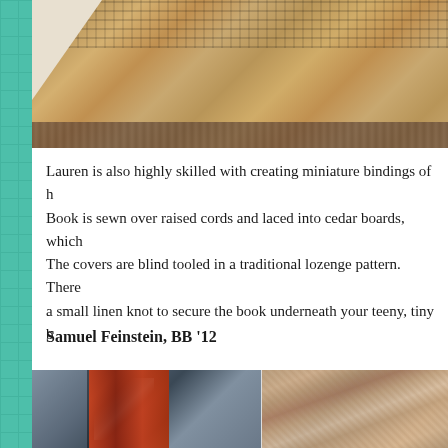[Figure (photo): Close-up photo of woven textile/mat material with a white triangular corner piece visible, and a dark textured strip at the bottom]
Lauren is also highly skilled with creating miniature bindings of h... Book is sewn over raised cords and laced into cedar boards, which... The covers are blind tooled in a traditional lozenge pattern. There ... a small linen knot to secure the book underneath your teeny, tiny b...
Samuel Feinstein, BB '12
[Figure (photo): Two photos side by side: left shows a book with dark blue cloth cover and marbled paper spine detail with orange/red patterns and white scratches; right shows a close-up of marbled paper with swirling brown, cream, and gold patterns on a dark brown background]